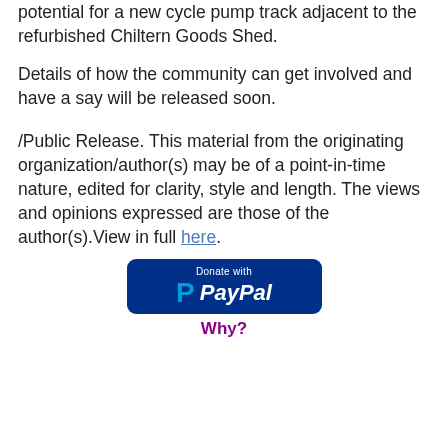potential for a new cycle pump track adjacent to the refurbished Chiltern Goods Shed.
Details of how the community can get involved and have a say will be released soon.
/Public Release. This material from the originating organization/author(s) may be of a point-in-time nature, edited for clarity, style and length. The views and opinions expressed are those of the author(s).View in full here.
[Figure (logo): Donate with PayPal button — dark blue rounded rectangle with PayPal 'P' logo and text]
Why?